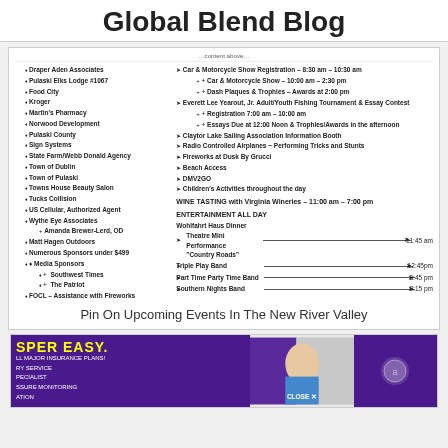Global Blend Blog
Left column: Draper Aden Associates, Pulaski Elks Lodge #1067, Food City, Kroger, Martin's Pharmacy, Norwood Development, Pulaski County, Sign Systems, State Farm/Webb Donald Agency, Town of Dublin, Town of Pulaski, Towns House Beauty Salon, Tucks Collision, US Cellular, Authorized Agent, Wythe Eye Associates, Amanda Brewer-Lerd, OD, Matt Hagen Outdoors, Numerous Sponsors under $499, Media Sponsors: Southwest Times, The Patriot, FOCL – Assistance with Fireworks
Right column: Car & Motorcycle Show Registration – 8:30 am – 10:30 am, Car & Motorcycle Show – 10:00 am – 2:30 pm, Dash Plaques & Trophies – Awards at 2:00 pm, Everett Lee Yearout, Jr. Adult/Youth Fishing Tournament & Essay Contest, Registration 7:00 am – 10:00 am, Essays Due at 12:00 Noon & Trophies/Awards in the afternoon, Claytor Lake Sailing Association Information Booth, Radio Controlled Airplanes ~ Performing Tricks and Stunts, Fireworks at Dusk By Grucci, Beach Access, DMV2GO, Children's Activities throughout the day, WINE TASTING with Virginia Wineries – 11:00 am – 7:00 pm, ENTERTAINMENT ALL DAY, Wohlfahrt Haus Dinner Theatre Mini Performance 'Country Roads' 11:45 am, Triple Play Band 12:45pm, Part Time Party Time Band 3:45 pm, Southern Nights Band 8:15 pm
Pin On Upcoming Events In The New River Valley
[Figure (photo): Advertisement for a pharmacy/medical service with purple background, showing medical professionals]